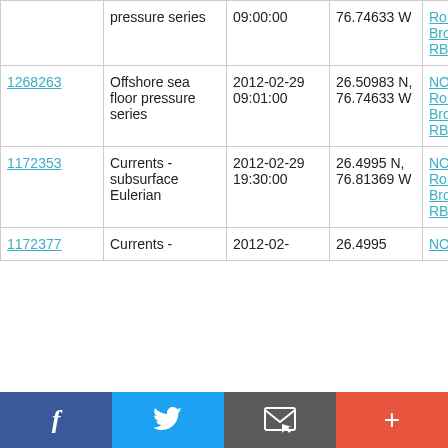| ID | Type | Date/Time | Location | Platform |
| --- | --- | --- | --- | --- |
|  | pressure series | 09:00:00 | 76.74633 W | Ronald H. Brown RB1201 |
| 1268263 | Offshore sea floor pressure series | 2012-02-29 09:01:00 | 26.50983 N, 76.74633 W | NOAA Ship Ronald H. Brown RB1201 |
| 1172353 | Currents - subsurface Eulerian | 2012-02-29 19:30:00 | 26.4995 N, 76.81369 W | NOAA Ship Ronald H. Brown RB1201 |
| 1172377 | Currents - | 2012-02- | 26.4995 | NOAA |
[Figure (screenshot): Social sharing bar with Facebook, Twitter, email, and plus buttons]